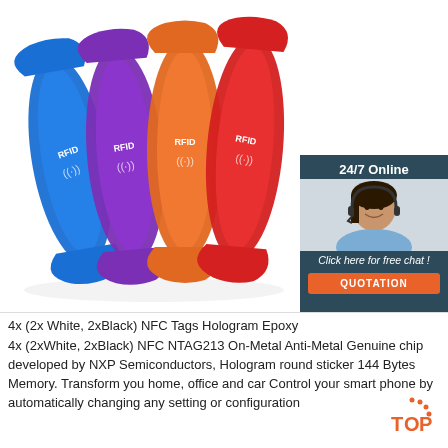[Figure (photo): Four colorful RFID silicone wristbands (blue, purple, orange, red) standing upright with RFID logos embossed, on white background. Overlaid in top-right corner: a customer service chat widget with '24/7 Online', a female agent with headset, 'Click here for free chat!' text, and orange 'QUOTATION' button.]
4x (2x White, 2xBlack) NFC Tags Hologram Epoxy
4x (2xWhite, 2xBlack) NFC NTAG213 On-Metal Anti-Metal Genuine chip developed by NXP Semiconductors, Hologram round sticker 144 Bytes Memory. Transform you home, office and car Control your smart phone by automatically changing any setting or configuration